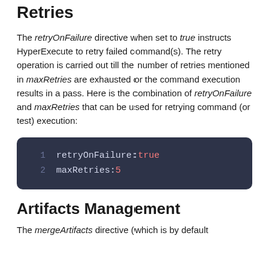Retries
The retryOnFailure directive when set to true instructs HyperExecute to retry failed command(s). The retry operation is carried out till the number of retries mentioned in maxRetries are exhausted or the command execution results in a pass. Here is the combination of retryOnFailure and maxRetries that can be used for retrying command (or test) execution:
[Figure (screenshot): Code block showing: line 1: retryOnFailure: true, line 2: maxRetries: 5]
Artifacts Management
The mergeArtifacts directive (which is by default